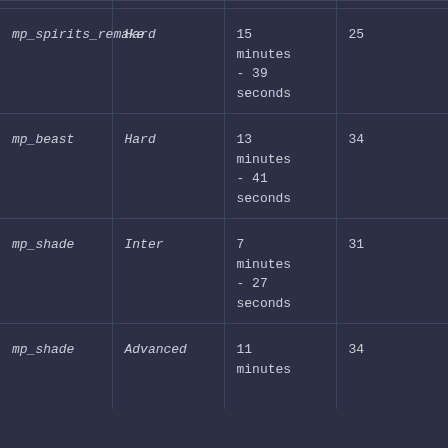| Map | Difficulty | Time | Score |
| --- | --- | --- | --- |
| mp_spirits_remake | Hard | 15 minutes - 39 seconds | 25 |
| mp_beast | Hard | 13 minutes - 41 seconds | 34 |
| mp_shade | Inter | 7 minutes - 27 seconds | 31 |
| mp_shade | Advanced | 11 minutes - 33 | 34 |